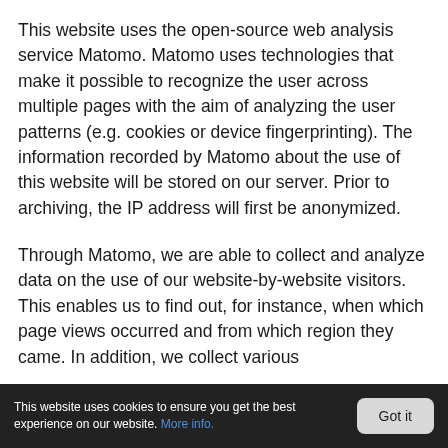This website uses the open-source web analysis service Matomo. Matomo uses technologies that make it possible to recognize the user across multiple pages with the aim of analyzing the user patterns (e.g. cookies or device fingerprinting). The information recorded by Matomo about the use of this website will be stored on our server. Prior to archiving, the IP address will first be anonymized.
Through Matomo, we are able to collect and analyze data on the use of our website-by-website visitors. This enables us to find out, for instance, when which page views occurred and from which region they came. In addition, we collect various
This website uses cookies to ensure you get the best experience on our website. More info.